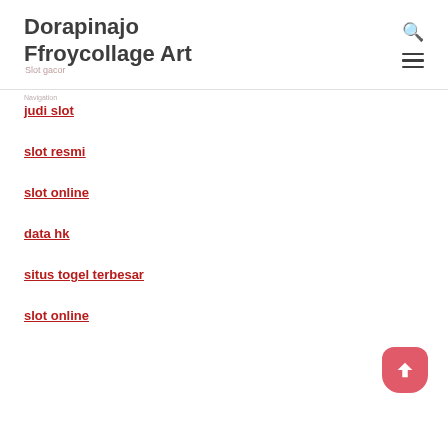Dorapinajo Ffroycollage Art
Slot gacor
judi slot
slot resmi
slot online
data hk
situs togel terbesar
slot online